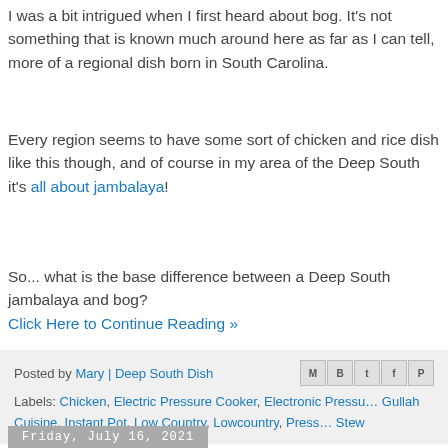I was a bit intrigued when I first heard about bog. It's not something that is known much around here as far as I can tell, more of a regional dish born in South Carolina.
Every region seems to have some sort of chicken and rice dish like this though, and of course in my area of the Deep South it's all about jambalaya!
So... what is the base difference between a Deep South jambalaya and bog?
Click Here to Continue Reading »
Posted by Mary | Deep South Dish
Labels: Chicken, Electric Pressure Cooker, Electronic Pressure Cooker, Gullah Cuisine, Instant Pot, Low Country, Lowcountry, Pressure Cooker, Stew
Friday, July 16, 2021